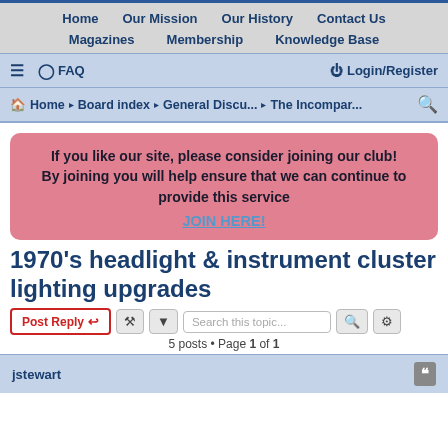Home  Our Mission  Our History  Contact Us  Magazines  Membership  Knowledge Base
≡ ? FAQ   Login/Register
Home · Board index · General Discu... · The Incompar...
If you like our site, please consider joining our club! By joining you will help ensure that we can continue to provide this service JOIN HERE!
1970's headlight & instrument cluster lighting upgrades
Post Reply   5 posts • Page 1 of 1
jstewart